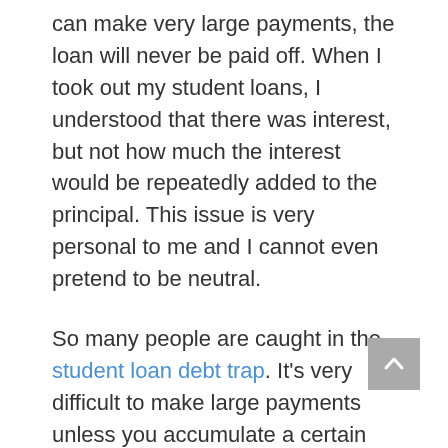can make very large payments, the loan will never be paid off. When I took out my student loans, I understood that there was interest, but not how much the interest would be repeatedly added to the principal. This issue is very personal to me and I cannot even pretend to be neutral.
So many people are caught in the student loan debt trap. It's very difficult to make large payments unless you accumulate a certain amount of wealth or someone helps you. President Obama and Kerry Washington were both unable to pay off their student loans until they started making the kind of money that comes from fame.
Things do seem to be changing. Over the past